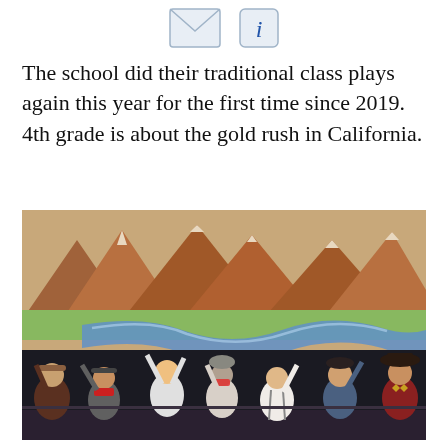[Figure (other): Envelope icon and information (i) icon side by side at top of page]
The school did their traditional class plays again this year for the first time since 2019. 4th grade is about the gold rush in California.
[Figure (photo): Children dressed in Western/cowboy costumes performing a class play on a stage with a painted backdrop depicting mountains and a river (gold rush scene). Several children have their hands raised in the air. They wear red bandanas, cowboy hats, suspenders, and similar Western attire.]